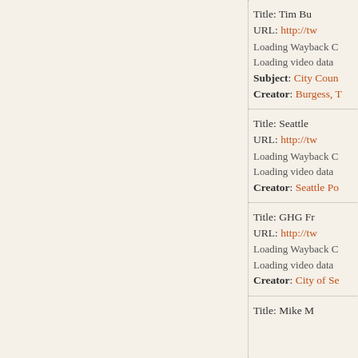Title: Tim Bu...
URL: http://tw...
Loading Wayback C...
Loading video data...
Subject: City Coun...
Creator: Burgess, T...
Title: Seattle ...
URL: http://tw...
Loading Wayback C...
Loading video data...
Creator: Seattle Po...
Title: GHG Fr...
URL: http://tw...
Loading Wayback C...
Loading video data...
Creator: City of Se...
Title: Mike M...